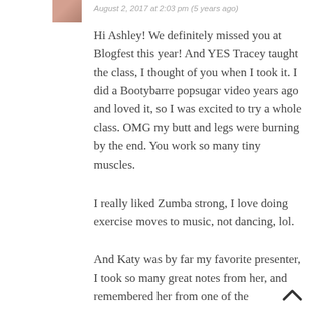[Figure (photo): Small avatar/profile photo thumbnail of a person]
August 2, 2017 at 2:03 pm (5 years ago)
Hi Ashley! We definitely missed you at Blogfest this year! And YES Tracey taught the class, I thought of you when I took it. I did a Bootybarre popsugar video years ago and loved it, so I was excited to try a whole class. OMG my butt and legs were burning by the end. You work so many tiny muscles.
I really liked Zumba strong, I love doing exercise moves to music, not dancing, lol.
And Katy was by far my favorite presenter, I took so many great notes from her, and remembered her from one of the